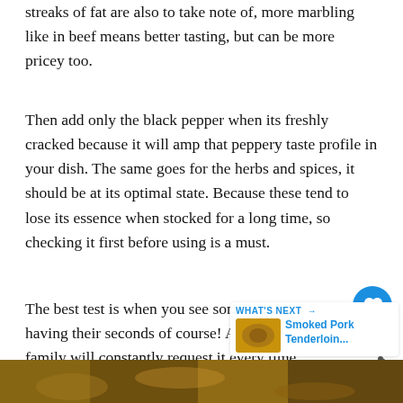streaks of fat are also to take note of, more marbling like in beef means better tasting, but can be more pricey too.
Then add only the black pepper when its freshly cracked because it will amp that peppery taste profile in your dish. The same goes for the herbs and spices, it should be at its optimal state. Because these tend to lose its essence when stocked for a long time, so checking it first before using is a must.
The best test is when you see someone having their seconds of course! And your family will constantly request it every time there is an upcoming
[Figure (photo): Bottom strip showing a food photograph, appears to be cooked/smoked meat, golden-brown tones]